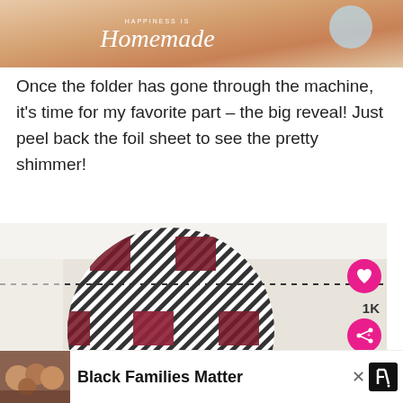[Figure (photo): Top portion of a blog page header image showing 'Happiness is Homemade' logo text over a warm peachy-tan background with a light blue circle element]
Once the folder has gone through the machine, it's time for my favorite part – the big reveal! Just peel back the foil sheet to see the pretty shimmer!
[Figure (photo): Photo of a circular buffalo plaid (black and white diagonal stripes with dark maroon/burgundy squares) craft item on a white surface, showing foil shimmer effect. Social media overlay buttons visible: heart button, 1K count, share button, and a 'What's Next' card showing 'Piña Colada Sugar Scrub...']
[Figure (infographic): Advertisement banner at bottom: Black Families Matter text with a photo of smiling family on left side and close/W branding on right]